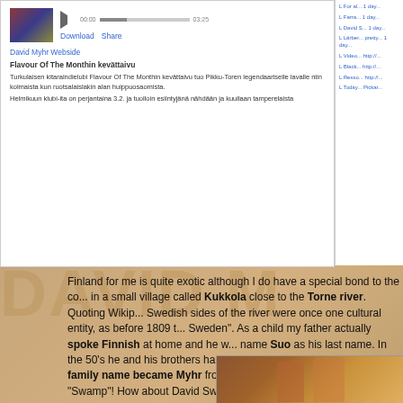[Figure (screenshot): Screenshot of a media player/blog page showing a music event post with thumbnail, download/share links, David Myhr Website link, and Finnish event description text]
Finland for me is quite exotic although I do have a special bond to the co... in a small village called Kukkola close to the Torne river. Quoting Wikip... Swedish sides of the river were once one cultural entity, as before 1809 t... Sweden". As a child my father actually spoke Finnish at home and he w... name Suo as his last name. In the 50's he and his brothers had their last... Swedish and then the family name became Myhr from the Swedish wo... English…? "Swamp"! How about David Swamp as my new artist name?
The last thing I have to say related to Finland for now is that you have to... Life if you can get your hands on it. It's about "Finnish men in sauna, spe... heart.". A master piece if you ask me!
[Figure (photo): Photo of two men outdoors, appearing to be at some event, with colorful background]